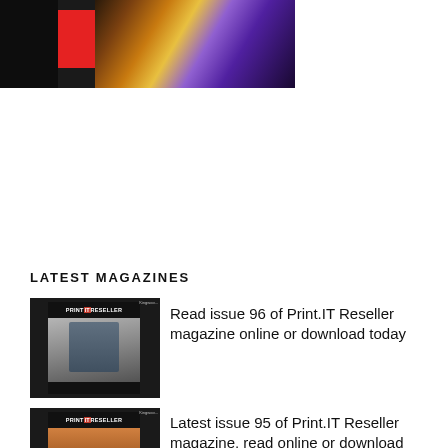[Figure (photo): Top banner image showing a dark background with a red square on the left side and colorful light streaks (purple, orange, gold) on the right side]
LATEST MAGAZINES
[Figure (photo): Thumbnail of Print.IT Reseller magazine issue 96 cover showing a person using a phone, on dark background]
Read issue 96 of Print.IT Reseller magazine online or download today
[Figure (photo): Thumbnail of Print.IT Reseller magazine issue 95 cover with orange/warm tones, on dark background]
Latest issue 95 of Print.IT Reseller magazine, read online or download today